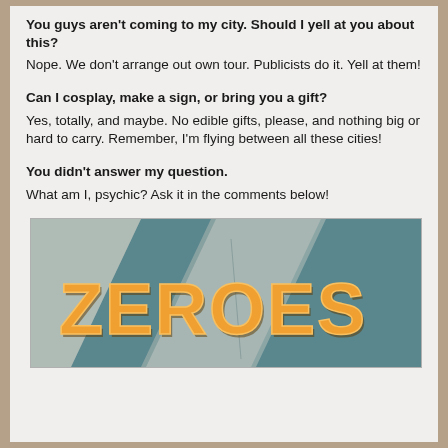You guys aren't coming to my city. Should I yell at you about this?
Nope. We don't arrange out own tour. Publicists do it. Yell at them!
Can I cosplay, make a sign, or bring you a gift?
Yes, totally, and maybe. No edible gifts, please, and nothing big or hard to carry. Remember, I'm flying between all these cities!
You didn't answer my question.
What am I, psychic? Ask it in the comments below!
[Figure (illustration): Book cover image for ZEROES with orange text on a grungy blue and grey concrete background]